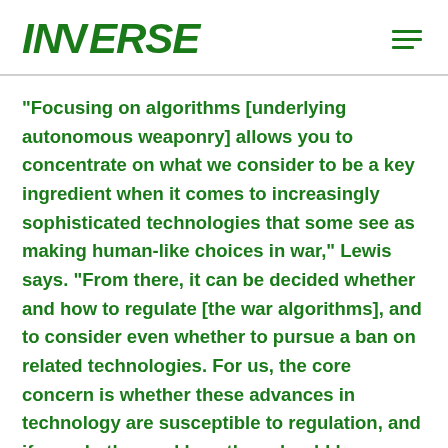INVERSE
“Focusing on algorithms [underlying autonomous weaponry] allows you to concentrate on what we consider to be a key ingredient when it comes to increasingly sophisticated technologies that some see as making human-like choices in war,” Lewis says. “From there, it can be decided whether and how to regulate [the war algorithms], and to consider even whether to pursue a ban on related technologies. For us, the core concern is whether these advances in technology are susceptible to regulation, and if so, whether and how they should be regulated or possibly even banned. War algorithms thus raise a vital question: Whether you can and should regulate, and even ban, certain technologies that are increasingly conceived as replacing elements of